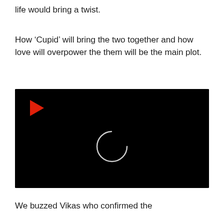life would bring a twist.
How ‘Cupid’ will bring the two together and how love will overpower the them will be the main plot.
[Figure (screenshot): Black video player with a red play button arrow in the top-left corner and a circular loading spinner in the center]
We buzzed Vikas who confirmed the